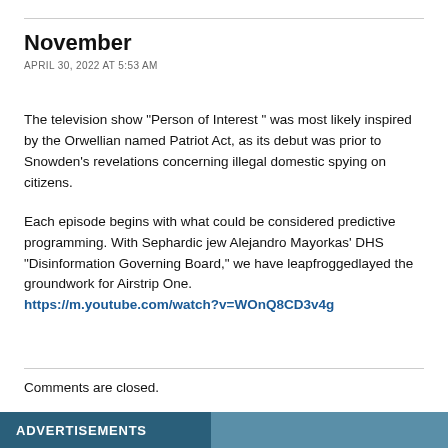November
APRIL 30, 2022 AT 5:53 AM
The television show “Person of Interest ” was most likely inspired by the Orwellian named Patriot Act, as its debut was prior to Snowden’s revelations concerning illegal domestic spying on citizens.
Each episode begins with what could be considered predictive programming. With Sephardic jew Alejandro Mayorkas’ DHS “Disinformation Governing Board,” we have leapfroggedlayed the groundwork for Airstrip One. https://m.youtube.com/watch?v=WOnQ8CD3v4g
Comments are closed.
ADVERTISEMENTS